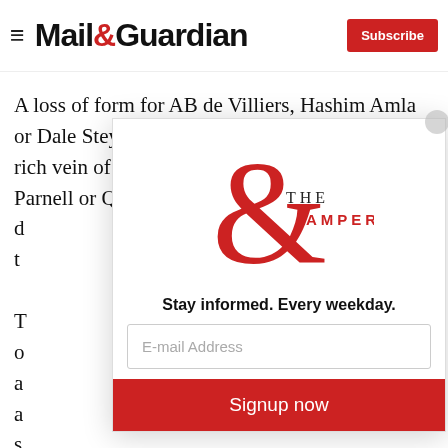Mail&Guardian | Subscribe
A loss of form for AB de Villiers, Hashim Amla or Dale Steyn could derail the campaign but a rich vein of it for someone unexpected – Wayne Parnell or Quinton d... t...
[Figure (logo): The Ampersand newsletter logo — large red ampersand with THE AMPERSAND text]
Stay informed. Every weekday.
E-mail Address
Signup now